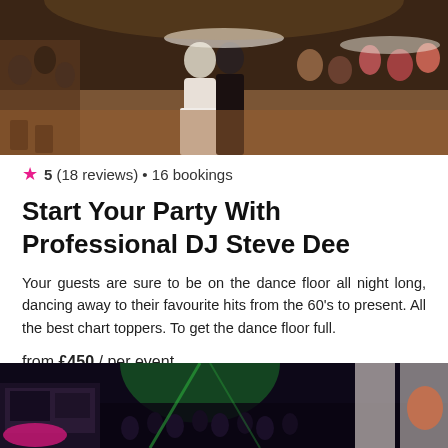[Figure (photo): Wedding reception photo showing a couple on a dance floor surrounded by guests at tables in a ballroom setting]
★ 5 (18 reviews) • 16 bookings
Start Your Party With Professional DJ Steve Dee
Your guests are sure to be on the dance floor all night long, dancing away to their favourite hits from the 60's to present. All the best chart toppers. To get the dance floor full.
from £450 / per event
[Figure (photo): DJ booth setup at a nightclub/event with green lighting and a crowd of people dancing]